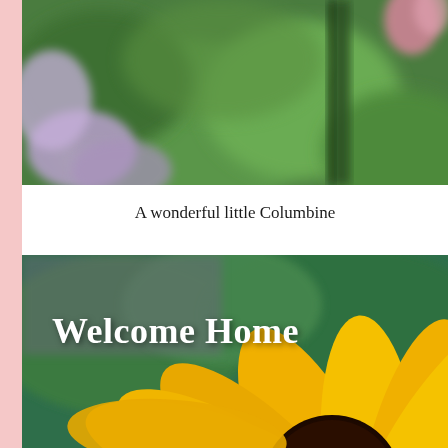[Figure (photo): Blurred macro photo of a Columbine flower with green leaves, purple petals and pink buds visible against a green background]
A wonderful little Columbine
[Figure (photo): Close-up photo of a yellow sunflower with dark brown center against green leaf background, with overlaid text 'Welcome Home' in bold white serif font]